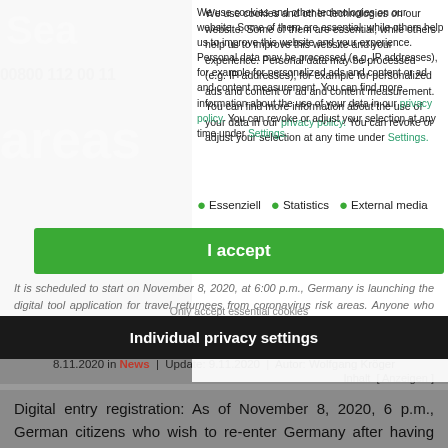[Figure (screenshot): Screenshot of a website with a cookie consent dialog overlay. The background shows a website with a logo starting with 'Sea', phone number '00800 112 00 11', and the word 'areas'. The cookie dialog shows text about cookies and data processing, with links to 'privacy policy' and 'Settings', bullet list items 'Essenziell', 'Statistics', 'External media', a green 'I accept' button, and a dark 'Individual privacy settings' button. Below the overlay is an article dated 8.11.2020 about digital entry registration in Germany related to coronavirus risk areas.]
We use cookies and other technologies on our website. Some of them are essential, while others help us to improve this website and your experience. Personal data may be processed (e.g. IP addresses), for example for personalized ads and content or ad and content measurement. You can find more information about the use of your data in our privacy policy. You can revoke or adjust your selection at any time under Settings.
Essenziell
Statistics
External media
I accept
Only accept essential cookies
Individual privacy settings
It is scheduled to start on November 8, 2020, at 6:00 p.m., Germany is launching the digital tool application for travel returnees from coronavirus risk areas. Anyone who cannot present it will pay...
8.11.2020 in News | Update: 9.11.2020 | Autor: Wolfgang Kröger
Inhalt [ Anzeigen ]
Digital entry registration: As of November 8, 2020, 6 p.m., German citizens who wish to re-enter Germany after having previously stayed in one of the coronavirus risk areas designated by the RKI must register online at www.einreiseanmeldung.de. This applies in partic...